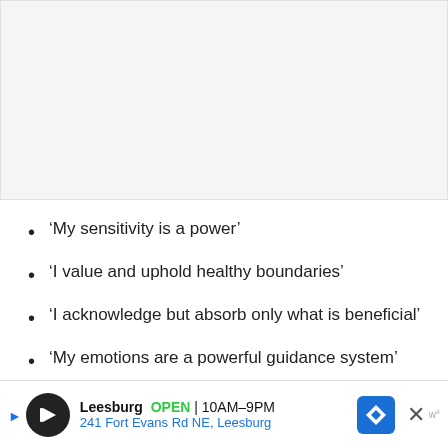[Figure (other): Blank/white image placeholder area with light gray background]
‘My sensitivity is a power’
‘I value and uphold healthy boundaries’
‘I acknowledge but absorb only what is beneficial’
‘My emotions are a powerful guidance system’
[Figure (other): Advertisement bar: Leesburg OPEN 10AM-9PM, 241 Fort Evans Rd NE, Leesburg with navigation icon and close button]